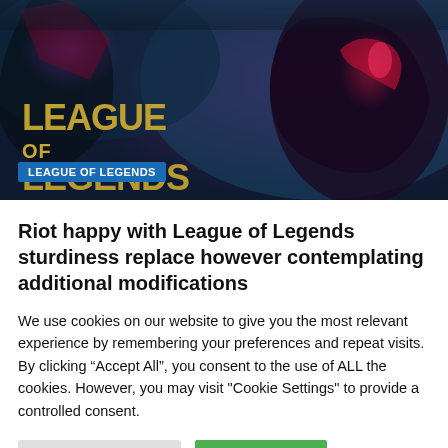[Figure (screenshot): League of Legends game artwork showing armored characters with glowing accents. Gold stylized 'LEAGUE OF LEGENDS' text overlays the bottom-left. A blue badge reading 'LEAGUE OF LEGENDS' is shown in the lower-left corner.]
Riot happy with League of Legends sturdiness replace however contemplating additional modifications
We use cookies on our website to give you the most relevant experience by remembering your preferences and repeat visits. By clicking “Accept All”, you consent to the use of ALL the cookies. However, you may visit "Cookie Settings" to provide a controlled consent.
Cookie Settings | Accept All